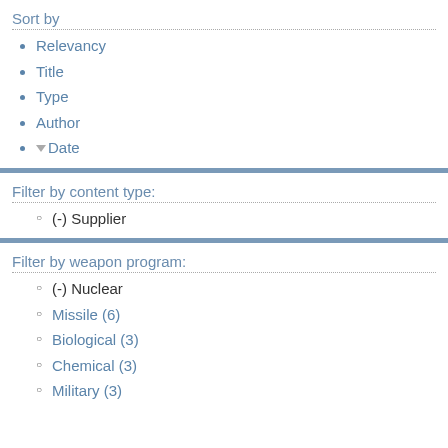Sort by
Relevancy
Title
Type
Author
Date
Filter by content type:
(-) Supplier
Filter by weapon program:
(-) Nuclear
Missile (6)
Biological (3)
Chemical (3)
Military (3)